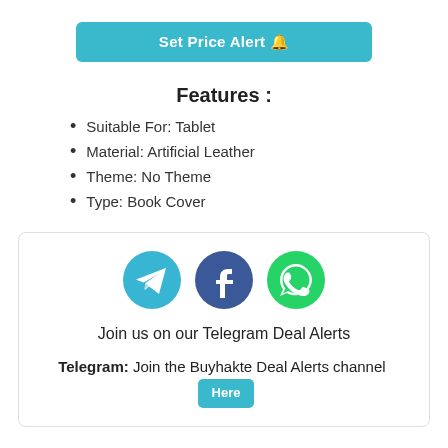[Figure (other): Blue 'Set Price Alert' button with bell icon]
Features :
Suitable For: Tablet
Material: Artificial Leather
Theme: No Theme
Type: Book Cover
[Figure (infographic): Social media icons: Telegram, Facebook, WhatsApp. Text: Join us on our Telegram Deal Alerts. Telegram: Join the Buyhakte Deal Alerts channel [Here button]]